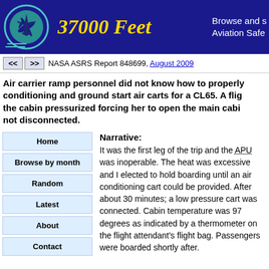37000 Feet — Browse and s Aviation Safe
NASA ASRS Report 848699, August 2009
Air carrier ramp personnel did not know how to properly conditioning and ground start air carts for a CL65. A flig the cabin pressurized forcing her to open the main cabi not disconnected.
Home
Browse by month
Random
Latest
About
Contact
Narrative:
It was the first leg of the trip and the APU was inoperable. The heat was excessive and I elected to hold boarding until an air conditioning cart could be provided. After about 30 minutes; a low pressure cart was connected. Cabin temperature was 97 degrees as indicated by a thermometer on the flight attendant's flight bag. Passengers were boarded shortly after.